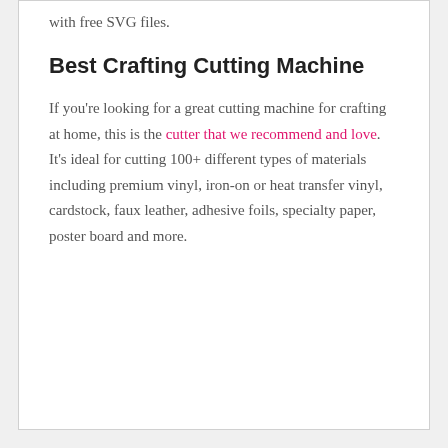with free SVG files.
Best Crafting Cutting Machine
If you're looking for a great cutting machine for crafting at home, this is the cutter that we recommend and love. It's ideal for cutting 100+ different types of materials including premium vinyl, iron-on or heat transfer vinyl, cardstock, faux leather, adhesive foils, specialty paper, poster board and more.